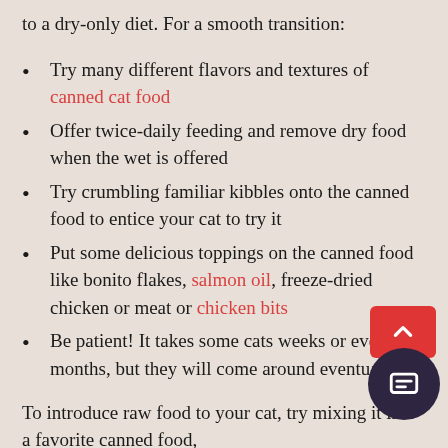to a dry-only diet. For a smooth transition:
Try many different flavors and textures of canned cat food
Offer twice-daily feeding and remove dry food when the wet is offered
Try crumbling familiar kibbles onto the canned food to entice your cat to try it
Put some delicious toppings on the canned food like bonito flakes, salmon oil, freeze-dried chicken or meat or chicken bits
Be patient! It takes some cats weeks or even months, but they will come around eventually.
To introduce raw food to your cat, try mixing it into a favorite canned food,